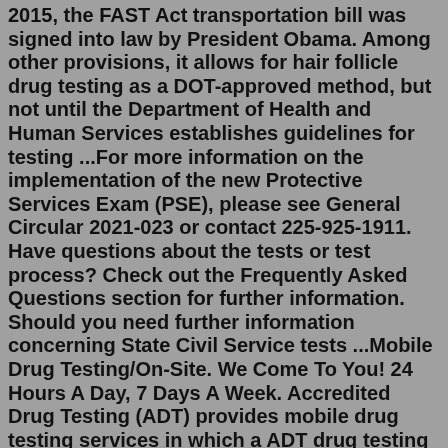2015, the FAST Act transportation bill was signed into law by President Obama. Among other provisions, it allows for hair follicle drug testing as a DOT-approved method, but not until the Department of Health and Human Services establishes guidelines for testing ...For more information on the implementation of the new Protective Services Exam (PSE), please see General Circular 2021-023 or contact 225-925-1911. Have questions about the tests or test process? Check out the Frequently Asked Questions section for further information. Should you need further information concerning State Civil Service tests ...Mobile Drug Testing/On-Site. We Come To You! 24 Hours A Day, 7 Days A Week. Accredited Drug Testing (ADT) provides mobile drug testing services in which a ADT drug testing specialist travels to your business or other specified location such as an accident scene or hospital to perform a drug, alcohol or DNA test.. Mobile drug testing is utilized in most cases by companies needing multiple ...Instead, the company said it would treat marijuana